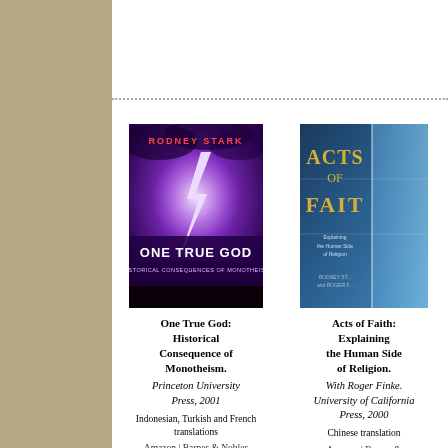[Figure (illustration): Book cover: One True God by Rodney Stark, lightning strike on purple stormy sky background]
One True God: Historical Consequence of Monotheism.
Princeton University Press, 2001
Indonesian, Turkish and French translations
Amazon | Barnes & Nobles
[Figure (illustration): Book cover: Acts of Faith, Explaining the Human Side of Religion by Rodney Stark and Roger Finke, blue toned cover]
Acts of Faith: Explaining the Human Side of Religion.
With Roger Finke. University of California Press, 2000
Chinese translation
Amazon | Barnes &